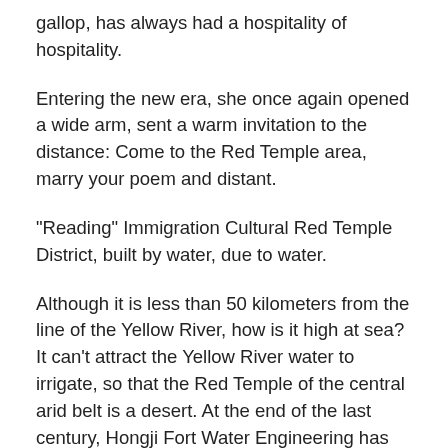gallop, has always had a hospitality of hospitality.
Entering the new era, she once again opened a wide arm, sent a warm invitation to the distance: Come to the Red Temple area, marry your poem and distant.
"Reading" Immigration Cultural Red Temple District, built by water, due to water.
Although it is less than 50 kilometers from the line of the Yellow River, how is it high at sea? It can't attract the Yellow River water to irrigate, so that the Red Temple of the central arid belt is a desert. At the end of the last century, Hongji Fort Water Engineering has started construction, 499 meters in the four levels, flows from high levels, and the development of water is nearly 800,000 mu, accumulating 230,000 immigrants in the five provinces and Ningnan Province, and built the country, Easy Ecological